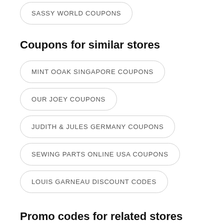SASSY WORLD COUPONS
Coupons for similar stores
MINT OOAK SINGAPORE COUPONS
OUR JOEY COUPONS
JUDITH & JULES GERMANY COUPONS
SEWING PARTS ONLINE USA COUPONS
LOUIS GARNEAU DISCOUNT CODES
Promo codes for related stores